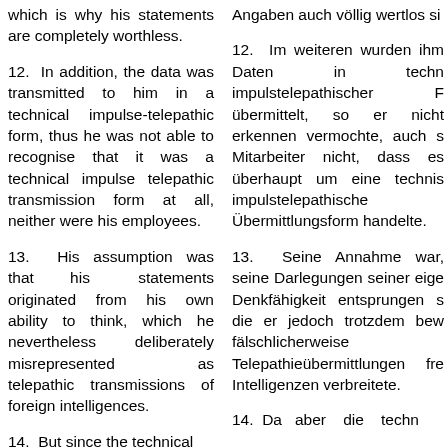which is why his statements are completely worthless.
Angaben auch völlig wertlos si
12. In addition, the data was transmitted to him in a technical impulse-telepathic form, thus he was not able to recognise that it was a technical impulse telepathic transmission form at all, neither were his employees.
12. Im weiteren wurden ihm Daten in techn impulstelepathischer F übermittelt, so er nicht erkennen vermochte, auch s Mitarbeiter nicht, dass es überhaupt um eine technis impulstelepathische Übermittlungsform handelte.
13. His assumption was that his statements originated from his own ability to think, which he nevertheless deliberately misrepresented as telepathic transmissions of foreign intelligences.
13. Seine Annahme war, seine Darlegungen seiner eige Denkfähigkeit entsprungen s die er jedoch trotzdem bew fälschlicherweise Telepathieübermittlungen fre Intelligenzen verbreitete.
14. But since the technical
14. Da aber die techn